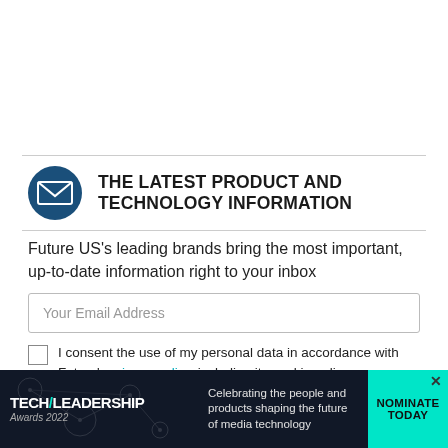THE LATEST PRODUCT AND TECHNOLOGY INFORMATION
Future US's leading brands bring the most important, up-to-date information right to your inbox
Your Email Address
I consent the use of my personal data in accordance with Future's privacy policy, including its cookie policy.
[Figure (infographic): Tech Leadership Awards 2022 advertisement banner: dark background with logo on left, caption 'Celebrating the people and products shaping the future of media technology' in middle, 'NOMINATE TODAY' call-to-action on right in teal.]